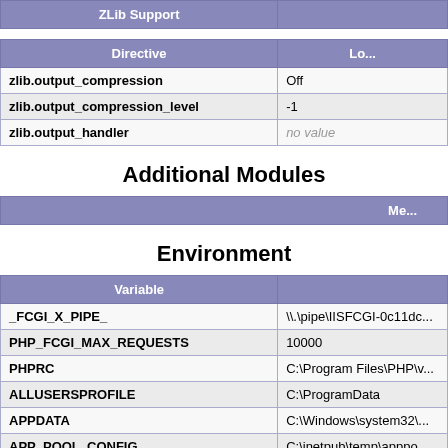| ZLib Support | Lo... |
| --- | --- |
| Directive | Lo... |
| --- | --- |
| zlib.output_compression | Off |
| zlib.output_compression_level | -1 |
| zlib.output_handler | no value |
Additional Modules
| Me... |
| --- |
Environment
| Variable |  |
| --- | --- |
| _FCGI_X_PIPE_ | \\.\pipe\IISFCGI-0c11dc... |
| PHP_FCGI_MAX_REQUESTS | 10000 |
| PHPRC | C:\Program Files\PHP\v... |
| ALLUSERSPROFILE | C:\ProgramData |
| APPDATA | C:\Windows\system32\... |
| APP_POOL_CONFIG | C:\inetpub\temp\apppo... |
| APP_POOL_ID | 1_khscs... |